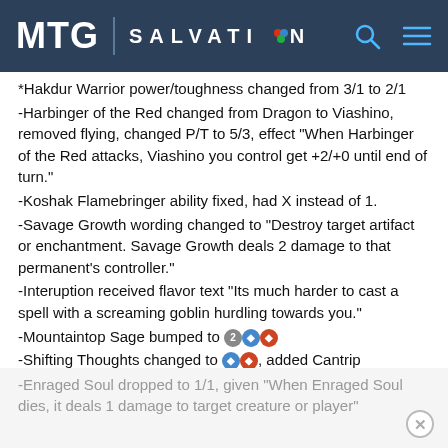MTG | SALVATION
*Hakdur Warrior power/toughness changed from 3/1 to 2/1
-Harbinger of the Red changed from Dragon to Viashino, removed flying, changed P/T to 5/3, effect "When Harbinger of the Red attacks, Viashino you control get +2/+0 until end of turn."
-Koshak Flamebringer ability fixed, had X instead of 1.
-Savage Growth wording changed to "Destroy target artifact or enchantment. Savage Growth deals 2 damage to that permanent's controller."
-Interuption received flavor text "Its much harder to cast a spell with a screaming goblin hurdling towards you."
-Mountaintop Sage bumped to [2][U][R]
-Shifting Thoughts changed to [U][R], added Cantrip
-Wording on Stormcloud Rager, now states "Instant or Sorcery Spell"
-Enraged Soul dropped to 1/1, given "When Enraged Soul dies, it deals 1 damage to target creature or player"